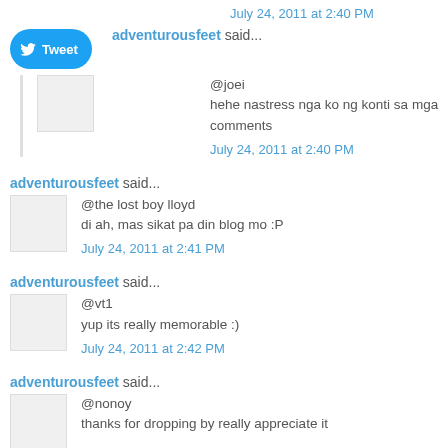July 24, 2011 at 2:40 PM
adventurousfeet said...
@joei
hehe nastress nga ko ng konti sa mga comments
July 24, 2011 at 2:40 PM
adventurousfeet said...
@the lost boy lloyd
di ah, mas sikat pa din blog mo :P
July 24, 2011 at 2:41 PM
adventurousfeet said...
@vt1
yup its really memorable :)
July 24, 2011 at 2:42 PM
adventurousfeet said...
@nonoy
thanks for dropping by really appreciate it